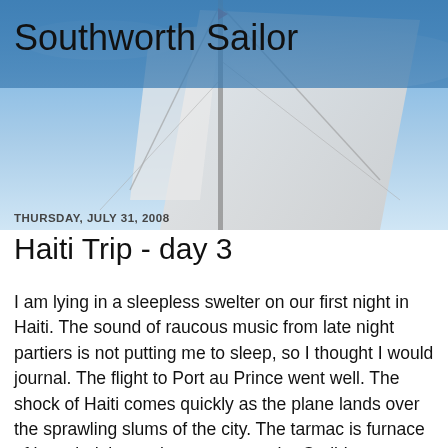[Figure (photo): Background photo of sailboat rigging and mast against a blue sky, with a blue-tinted semi-transparent header overlay]
Southworth Sailor
THURSDAY, JULY 31, 2008
Haiti Trip - day 3
I am lying in a sleepless swelter on our first night in Haiti. The sound of raucous music from late night partiers is not putting me to sleep, so I thought I would journal. The flight to Port au Prince went well. The shock of Haiti comes quickly as the plane lands over the sprawling slums of the city. The tarmac is furnace of hot wind that welcomes you to the Caribbean summer. After some delay in waiting for luggage, it was off through the mob of belligerent porters, to a bus to transport us to the other side of the airstrip for a flight to Jeremie. The chaos of the check-in system came to a crescendo when the airlines refused to put on Esther and my personal luggage. Fortunately, we had half planned on the